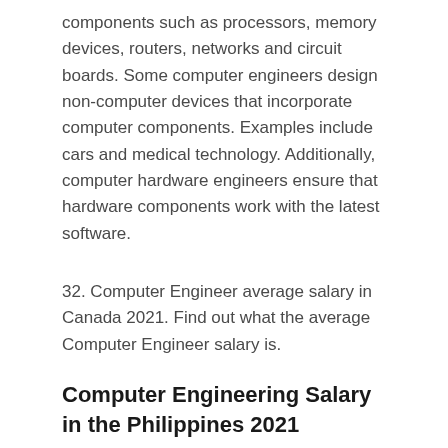components such as processors, memory devices, routers, networks and circuit boards. Some computer engineers design non-computer devices that incorporate computer components. Examples include cars and medical technology. Additionally, computer hardware engineers ensure that hardware components work with the latest software.
32. Computer Engineer average salary in Canada 2021. Find out what the average Computer Engineer salary is.
Computer Engineering Salary in the Philippines 2021
33. Today, there have been two (2) classifications of computer engineers, Computer Software Engineer and Computer Hardware Engineer. According to